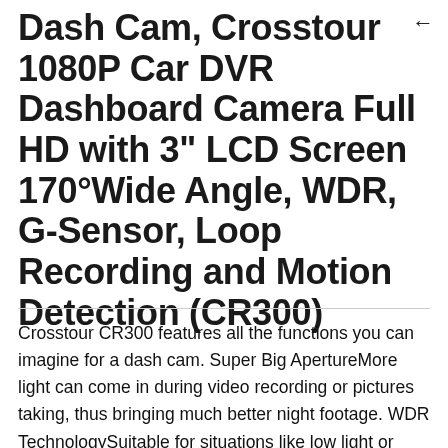Dash Cam, Crosstour 1080P Car DVR Dashboard Camera Full HD with 3" LCD Screen 170°Wide Angle, WDR, G-Sensor, Loop Recording and Motion Detection (CR300)
Crosstour CR300 features all the functions you can imagine for a dash cam. Super Big ApertureMore light can come in during video recording or pictures taking, thus bringing much better night footage. WDR TechnologySuitable for situations like low light or backlight, WDR is able to restore the true colors of objects to the greatest extent. Motion DetectionAutomatically start recording when detecting objects movement. Less power and less storage space